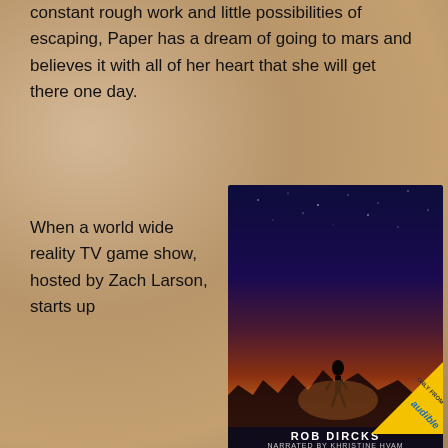constant rough work and little possibilities of escaping, Paper has a dream of going to mars and believes it with all of her heart that she will get there one day.
When a world wide reality TV game show, hosted by Zach Larson, starts up
[Figure (illustration): Book cover for 'You're Going to Mars!' by Rob Dircks, an Audible Original. Features a purple/blue night sky with the title in large white and yellow text, a silhouetted figure standing on rubble at sunset, and an 'Only From Audible' badge. Narrated by Khristine Hvam.]